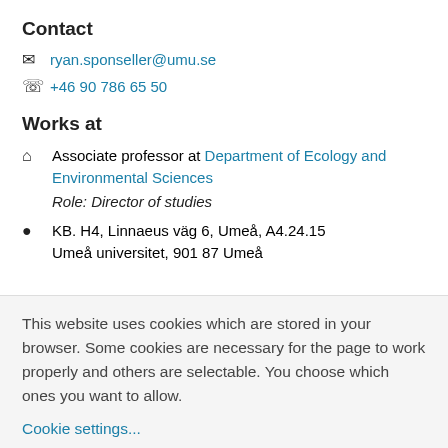Contact
ryan.sponseller@umu.se
+46 90 786 65 50
Works at
Associate professor at Department of Ecology and Environmental Sciences
Role: Director of studies
KB. H4, Linnaeus väg 6, Umeå, A4.24.15
Umeå universitet, 901 87 Umeå
This website uses cookies which are stored in your browser. Some cookies are necessary for the page to work properly and others are selectable. You choose which ones you want to allow.
Cookie settings...
Allow only necessary cookies
Allow all cookies